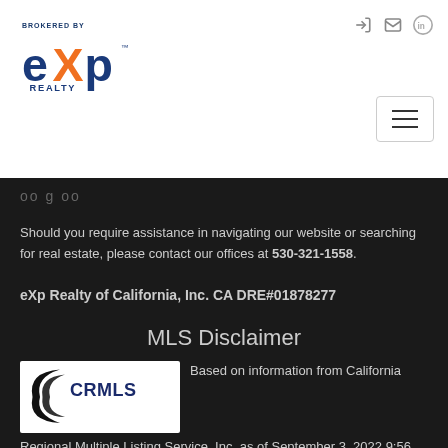[Figure (logo): eXp Realty logo — BROKERED BY text above, orange X with blue 'exp' letters and TM, REALTY below in blue]
[Figure (other): Navigation icons: login, email, LinkedIn circular icon, and hamburger menu button top right]
...
Should you require assistance in navigating our website or searching for real estate, please contact our offices at 530-321-1558.
eXp Realty of California, Inc. CA DRE#01878277
MLS Disclaimer
[Figure (logo): CRMLS logo — black swoosh/arrow with CRMLS text in dark blue]
Based on information from California Regional Multiple Listing Service, Inc. as of September 3, 2022 9:56 AM UTC This information is for your personal, non-commercial use and may not be used for any purpose other than to...